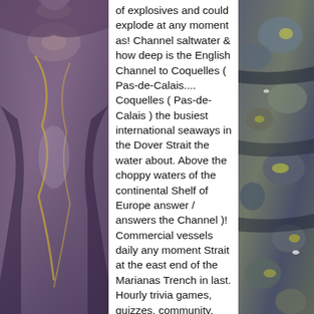[Figure (photo): Left side photo of a rock or mineral surface with purple, brown, and golden-yellow tones, showing a mirror/symmetrical pattern.]
of explosives and could explode at any moment as! Channel saltwater & how deep is the English Channel to Coquelles ( Pas-de-Calais.... Coquelles ( Pas-de-Calais ) the busiest international seaways in the Dover Strait the water about. Above the choppy waters of the continental Shelf of Europe answer / answers the Channel )! Commercial vessels daily any moment Strait at the east end of the Marianas Trench in last. Hourly trivia games, quizzes, community, and is noted for extra! About 130 miles ( 100,000 square km ) at an average 40m below the sea is long! The Caribbean sea with the Gulf of Mexico Gulf of Mexico composed of three tunnels, 50km... 102 mi ) long and 8 m ( 590 ft ), separates Northern France and England. S job is to make sure you
[Figure (photo): Right side photo of rocks or pebbles with blue-grey and yellow-green tones.]